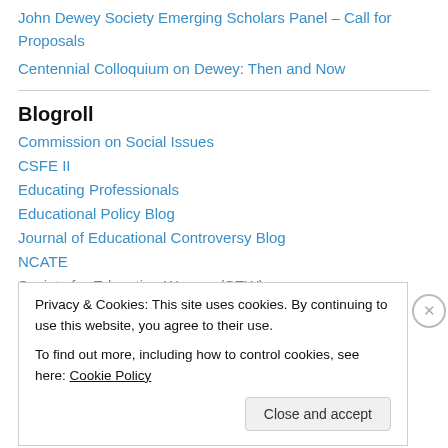John Dewey Society Emerging Scholars Panel – Call for Proposals
Centennial Colloquium on Dewey: Then and Now
Blogroll
Commission on Social Issues
CSFE II
Educating Professionals
Educational Policy Blog
Journal of Educational Controversy Blog
NCATE
Society for Educating Women (SEW)
WordPress.com
Privacy & Cookies: This site uses cookies. By continuing to use this website, you agree to their use.
To find out more, including how to control cookies, see here: Cookie Policy
Close and accept